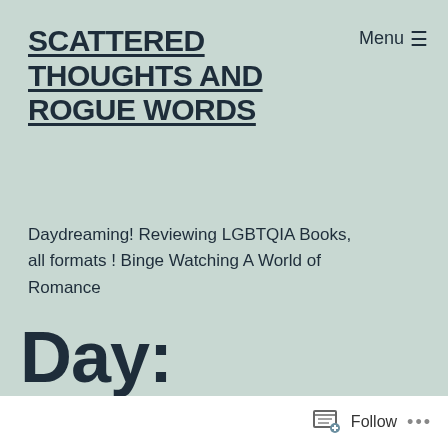SCATTERED THOUGHTS AND ROGUE WORDS
Menu ☰
Daydreaming! Reviewing LGBTQIA Books, all formats ! Binge Watching A World of Romance
Day: February 4, 2014
Follow ...